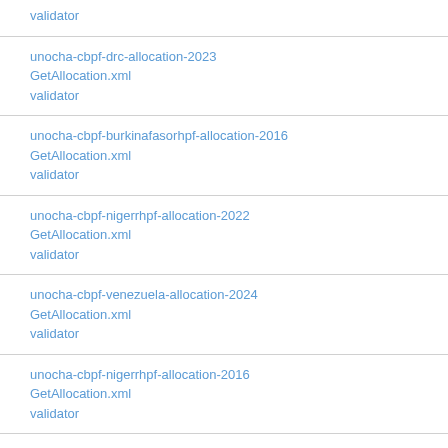validator
unocha-cbpf-drc-allocation-2023
GetAllocation.xml
validator
unocha-cbpf-burkinafasorhpf-allocation-2016
GetAllocation.xml
validator
unocha-cbpf-nigerrhpf-allocation-2022
GetAllocation.xml
validator
unocha-cbpf-venezuela-allocation-2024
GetAllocation.xml
validator
unocha-cbpf-nigerrhpf-allocation-2016
GetAllocation.xml
validator